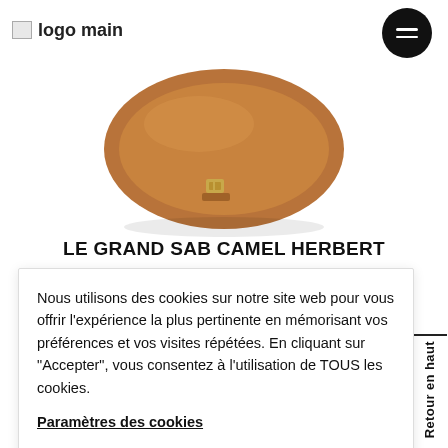logo main
[Figure (photo): Partial view of a camel-colored leather handbag (Le Grand Sab Camel Herbert) shown from below, with a gold buckle detail visible, on a white background.]
LE GRAND SAB CAMEL HERBERT
Nous utilisons des cookies sur notre site web pour vous offrir l'expérience la plus pertinente en mémorisant vos préférences et vos visites répétées. En cliquant sur "Accepter", vous consentez à l'utilisation de TOUS les cookies.
Paramètres des cookies
ACCEPTER
Retour en haut
[Figure (photo): Partial bottom view of a dark brown/burgundy leather handbag visible at the very bottom of the page.]